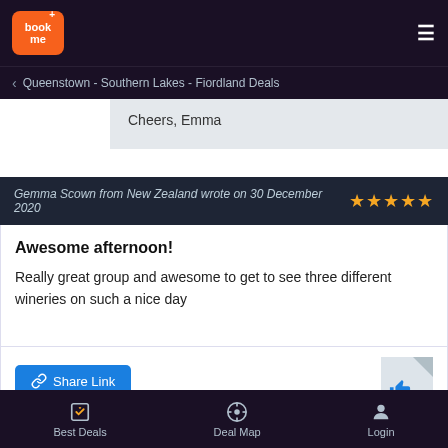[Figure (logo): BookMe logo - orange rounded rectangle with 'book me' text and plus sign]
Queenstown - Southern Lakes - Fiordland Deals
Cheers, Emma
Gemma Scown from New Zealand wrote on 30 December 2020 ★★★★★
Awesome afternoon!
Really great group and awesome to get to see three different wineries on such a nice day
Share Link
From Wine Tour (Afternoon) includes a
Best Deals  Deal Map  Login